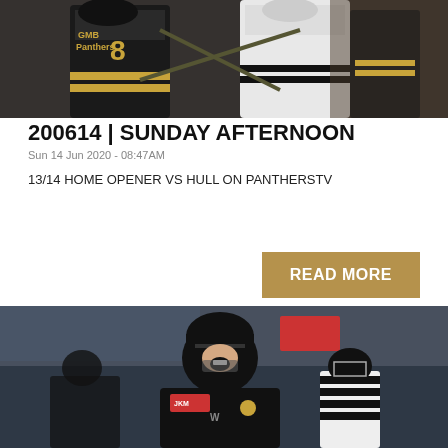[Figure (photo): Ice hockey players in black and gold GMB Panthers jerseys during a game]
200614 | SUNDAY AFTERNOON
Sun 14 Jun 2020 - 08:47AM
13/14 HOME OPENER VS HULL ON PANTHERSTV
READ MORE
[Figure (photo): Ice hockey player in black jersey with mouth open celebrating, referee and another player visible in background]